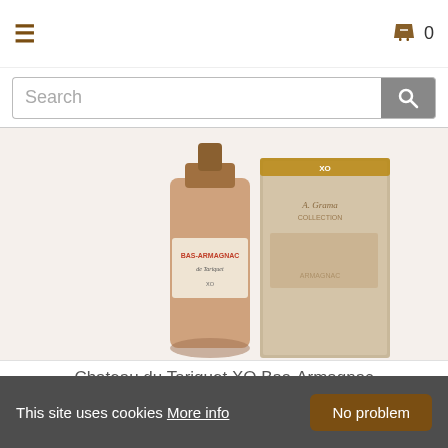≡  🛍 0
Search
[Figure (photo): Product photo of Chateau du Tariquet XO Bas-Armagnac bottle and box packaging, showing an amber/cognac-colored bottle with labels and a beige/tan gift box]
Chateau du Tariquet XO Bas-Armagnac
★★★★★
£49.99
Add to basket
This site uses cookies More info   No problem